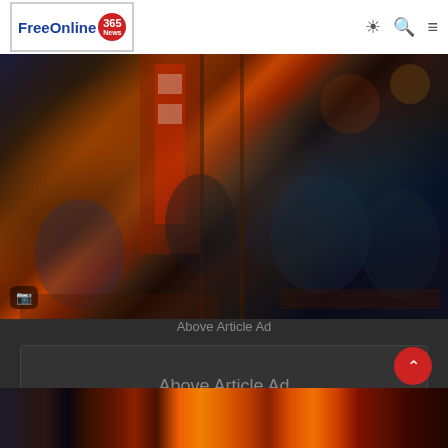[Figure (logo): FreeOnline365 News logo with blue text and red circular badge]
[Figure (photo): People dining in a Chinese restaurant at night, some wearing masks, warm orange lighting with red decorations and Chinese characters]
Above Article Ad
[Figure (infographic): Above Article Ad placeholder box]
[Figure (photo): Bottom strip showing Chinese lanterns and restaurant exterior at night with warm orange and red lighting]